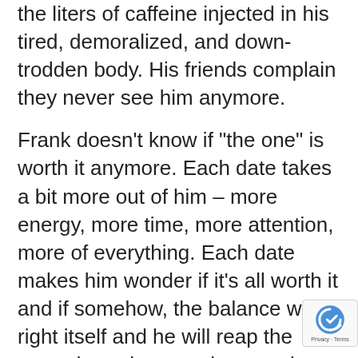the liters of caffeine injected in his tired, demoralized, and down-trodden body. His friends complain they never see him anymore.
Frank doesn’t know if “the one” is worth it anymore. Each date takes a bit more out of him – more energy, more time, more attention, more of everything. Each date makes him wonder if it’s all worth it and if somehow, the balance will right itself and he will reap the rewards – whatever that may be.
He hates how impatient he feels and hates even more how selfish he sounds. After all, he knows that relationships take time and